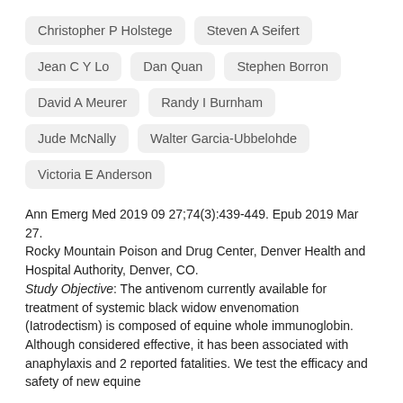Christopher P Holstege
Steven A Seifert
Jean C Y Lo
Dan Quan
Stephen Borron
David A Meurer
Randy I Burnham
Jude McNally
Walter Garcia-Ubbelohde
Victoria E Anderson
Ann Emerg Med 2019 09 27;74(3):439-449. Epub 2019 Mar 27.
Rocky Mountain Poison and Drug Center, Denver Health and Hospital Authority, Denver, CO.
Study Objective: The antivenom currently available for treatment of systemic black widow envenomation (Iatrodectism) is composed of equine whole immunoglobin. Although considered effective, it has been associated with anaphylaxis and 2 reported fatalities. We test the efficacy and safety of new equine